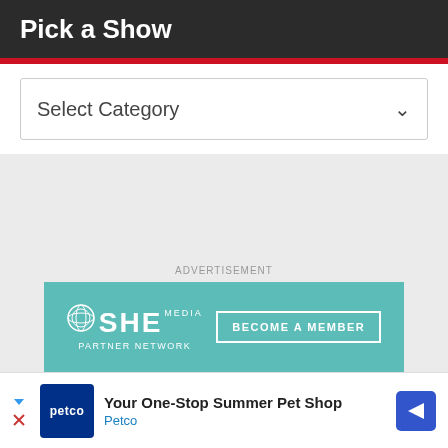Pick a Show
Select Category
ADVERTISEMENT
[Figure (screenshot): SHE Media Partner Network advertisement banner with teal background, logo and 'BECOME A MEMBER' button]
[Figure (screenshot): Petco advertisement bar: 'Your One-Stop Summer Pet Shop' with Petco logo and navigation arrow]